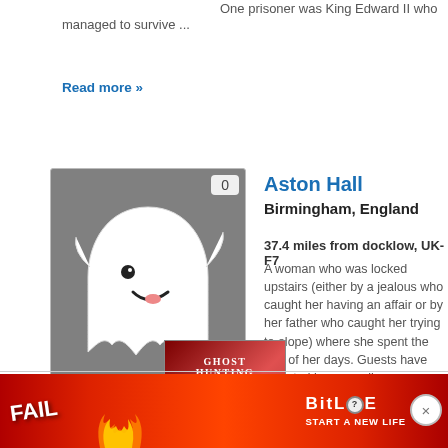One prisoner was King Edward II who managed to survive ...
Read more »
[Figure (illustration): Ghost cartoon illustration on grey background with a counter badge showing 0]
Aston Hall
Birmingham, England
37.4 miles from docklow, UK-F7
A woman who was locked upstairs (either by a jealous who caught her having an affair or by her father who caught her trying to elope) where she spent the rest of her days. Guests have reported her as well a young man who hung himself on the property. The ...
Read more »
[Figure (photo): Ghost Hunting book cover]
[Figure (infographic): BitLife advertisement banner with FAIL text, flames, and START A NEW LIFE tagline]